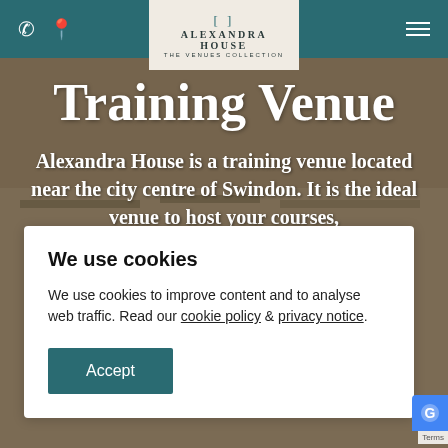ALEXANDRA HOUSE — THE VENUES COLLECTION
Training Venue
Alexandra House is a training venue located near the city centre of Swindon. It is the ideal venue to host your courses,
We use cookies
We use cookies to improve content and to analyse web traffic. Read our cookie policy & privacy notice.
Accept